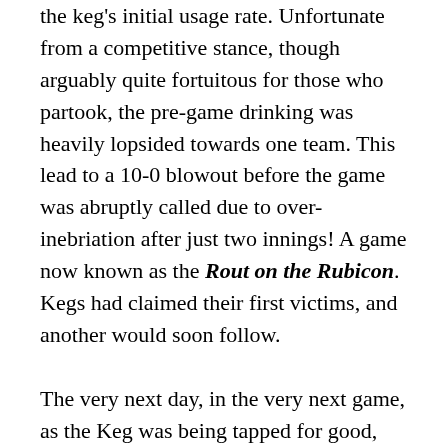the keg's initial usage rate. Unfortunate from a competitive stance, though arguably quite fortuitous for those who partook, the pre-game drinking was heavily lopsided towards one team. This lead to a 10-0 blowout before the game was abruptly called due to over-inebriation after just two innings! A game now known as the Rout on the Rubicon. Kegs had claimed their first victims, and another would soon follow.
The very next day, in the very next game, as the Keg was being tapped for good, Chris took down more than his fair share. He attempted to sleep off his resulting stupor by ambivalently passing out on a rock while in center field. This led to his being coronated Beerpope Rooster I